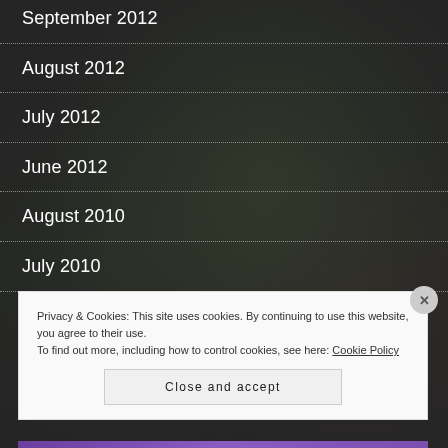[Figure (photo): Dark background photo of a group of people outdoors with greenery, overlaid with dark tint]
September 2012
August 2012
July 2012
June 2012
August 2010
July 2010
Privacy & Cookies: This site uses cookies. By continuing to use this website, you agree to their use.
To find out more, including how to control cookies, see here: Cookie Policy
Close and accept